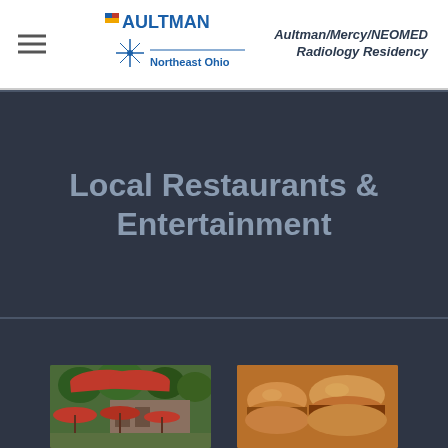Aultman/Mercy/NEOMED Radiology Residency — Northeast Ohio
Local Restaurants & Entertainment
[Figure (photo): Outdoor patio restaurant with red umbrellas and trees]
[Figure (photo): Close-up of food items, sandwiches or sliders]